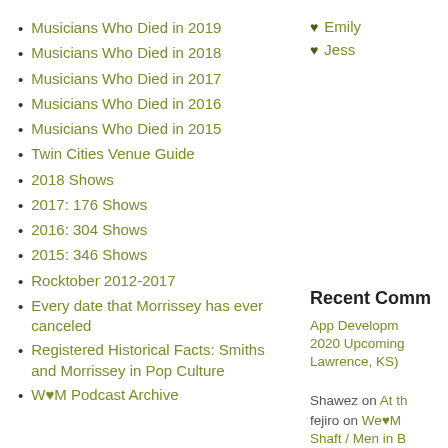Musicians Who Died in 2019
Musicians Who Died in 2018
Musicians Who Died in 2017
Musicians Who Died in 2016
Musicians Who Died in 2015
Twin Cities Venue Guide
2018 Shows
2017: 176 Shows
2016: 304 Shows
2015: 346 Shows
Rocktober 2012-2017
Every date that Morrissey has ever canceled
Registered Historical Facts: Smiths and Morrissey in Pop Culture
W♥M Podcast Archive
♥ Emily
♥ Jess
Recent Comm
App Developm 2020 Upcoming Lawrence, KS)
Shawez on At th
fejiro on We♥M Shaft / Men in B